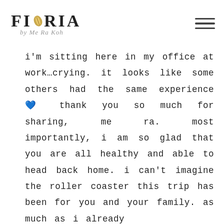[Figure (logo): Fioria by Me Ra Koh logo with golden leaf accent and script subtitle]
i'm sitting here in my office at work…crying. it looks like some others had the same experience 💙 thank you so much for sharing, me ra. most importantly, i am so glad that you are all healthy and able to head back home. i can't imagine the roller coaster this trip has been for you and your family. as much as i already